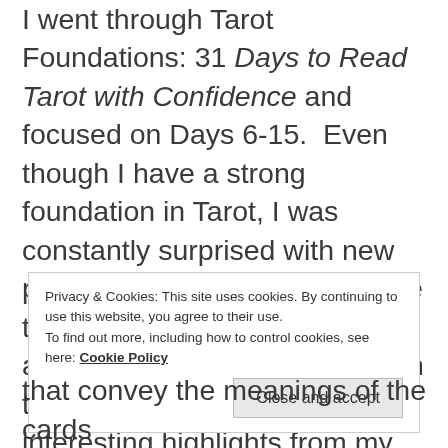I went through Tarot Foundations: 31 Days to Read Tarot with Confidence and focused on Days 6-15. Even though I have a strong foundation in Tarot, I was constantly surprised with new perspectives. I decided to make the focus of the exercises applying Tarot in my novel. With that being said, here are some interesting highlights from my studies today.
Privacy & Cookies: This site uses cookies. By continuing to use this website, you agree to their use. To find out more, including how to control cookies, see here: Cookie Policy
that convey the meanings of the cards